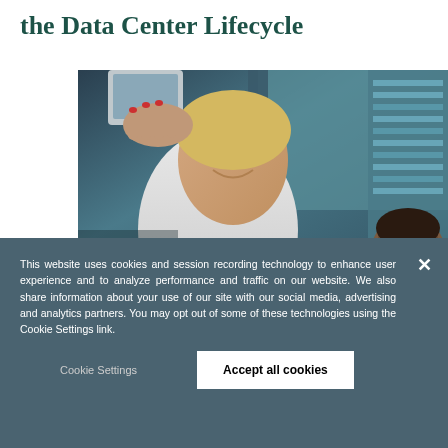the Data Center Lifecycle
[Figure (photo): Low-angle photo of a woman with blonde hair in a white shirt holding a tablet/device, with another person partially visible, in a data center environment with teal/blue equipment racks visible in the background.]
This website uses cookies and session recording technology to enhance user experience and to analyze performance and traffic on our website. We also share information about your use of our site with our social media, advertising and analytics partners. You may opt out of some of these technologies using the Cookie Settings link.
Cookie Settings
Accept all cookies